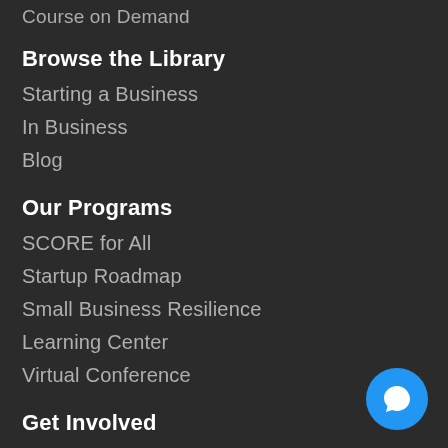Course on Demand
Browse the Library
Starting a Business
In Business
Blog
Our Programs
SCORE for All
Startup Roadmap
Small Business Resilience
Learning Center
Virtual Conference
Get Involved
Volunteer
Careers
[Figure (illustration): Blue circular chat/message button icon in bottom-right corner]